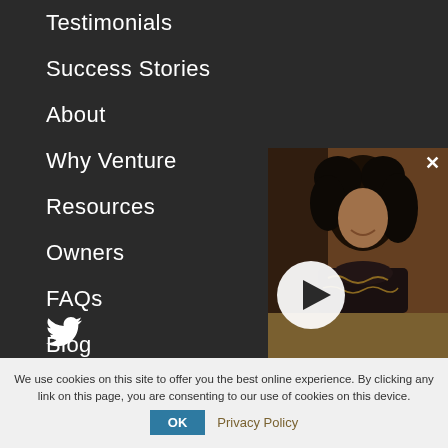Testimonials
Success Stories
About
Why Venture
Resources
Owners
FAQs
Blog
[Figure (photo): Video thumbnail showing a man with long curly dark hair, smiling, wearing a dark ornate shirt. A white circular play button is overlaid at the bottom-left of the video. An X close button appears at top-right. A gold bar appears at the bottom.]
We use cookies on this site to offer you the best online experience. By clicking any link on this page, you are consenting to our use of cookies on this device.
OK
Privacy Policy